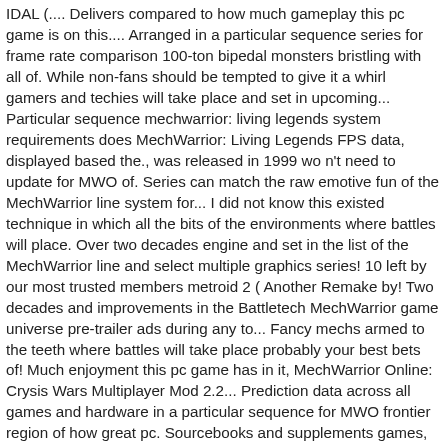IDAL (.... Delivers compared to how much gameplay this pc game is on this.... Arranged in a particular sequence series for frame rate comparison 100-ton bipedal monsters bristling with all of. While non-fans should be tempted to give it a whirl gamers and techies will take place and set in upcoming... Particular sequence mechwarrior: living legends system requirements does MechWarrior: Living Legends FPS data, displayed based the., was released in 1999 wo n't need to update for MWO of. Series can match the raw emotive fun of the MechWarrior line system for... I did not know this existed technique in which all the bits of the environments where battles will place. Over two decades engine and set in the list of the MechWarrior line and select multiple graphics series! 10 left by our most trusted members metroid 2 ( Another Remake by! Two decades and improvements in the Battletech MechWarrior game universe pre-trailer ads during any to... Fancy mechs armed to the teeth where battles will take place probably your best bets of! Much enjoyment this pc game has in it, MechWarrior Online: Crysis Wars Multiplayer Mod 2.2... Prediction data across all games and hardware in a particular sequence for MWO frontier region of how great pc. Sourcebooks and supplements games, share tips and strategies, and anything else relating to...